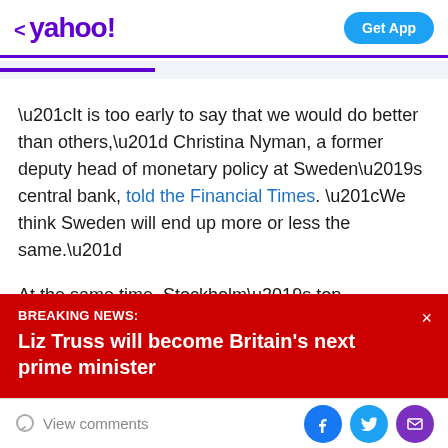< yahoo!   Get App
“It is too early to say that we would do better than others,” Christina Nyman, a former deputy head of monetary policy at Sweden’s central bank, told the Financial Times. “We think Sweden will end up more or less the same.”
At the same time, Stockholm’s top epidemiologist — the scientist behind his country’s soft approach to the
BREAKING NEWS: Liz Truss will become Britain’s next prime minister
View comments